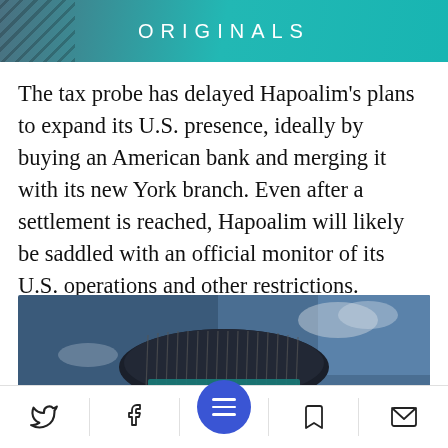ORIGINALS
The tax probe has delayed Hapoalim's plans to expand its U.S. presence, ideally by buying an American bank and merging it with its new York branch. Even after a settlement is reached, Hapoalim will likely be saddled with an official monitor of its U.S. operations and other restrictions.
[Figure (photo): A circular tower building photographed from below against a blue sky, with Hebrew text visible on the building's exterior.]
Navigation bar with Twitter, Facebook, menu, bookmark, and email icons